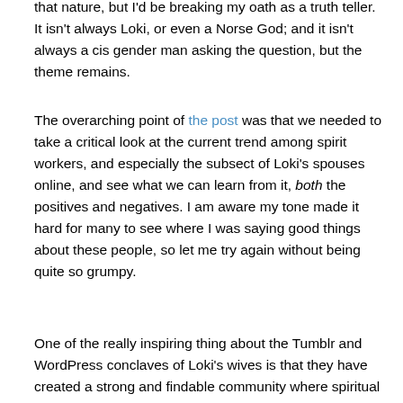that nature, but I'd be breaking my oath as a truth teller. It isn't always Loki, or even a Norse God; and it isn't always a cis gender man asking the question, but the theme remains.
The overarching point of the post was that we needed to take a critical look at the current trend among spirit workers, and especially the subsect of Loki's spouses online, and see what we can learn from it, both the positives and negatives. I am aware my tone made it hard for many to see where I was saying good things about these people, so let me try again without being quite so grumpy.
One of the really inspiring thing about the Tumblr and WordPress conclaves of Loki's wives is that they have created a strong and findable community where spiritual paths that are considered in the very minority of Pagans